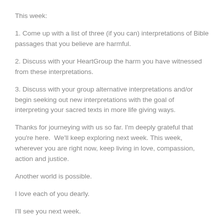This week:
1. Come up with a list of three (if you can) interpretations of Bible passages that you believe are harmful.
2. Discuss with your HeartGroup the harm you have witnessed from these interpretations.
3. Discuss with your group alternative interpretations and/or begin seeking out new interpretations with the goal of interpreting your sacred texts in more life giving ways.
Thanks for journeying with us so far. I'm deeply grateful that you're here.  We'll keep exploring next week. This week, wherever you are right now, keep living in love, compassion, action and justice.
Another world is possible.
I love each of you dearly.
I'll see you next week.
Posted in Esights, LGBTQ Affirmation | Tagged Action, Affirmation, Affirming Theology, Biphobia, bisexual, Celebration, Compassion,